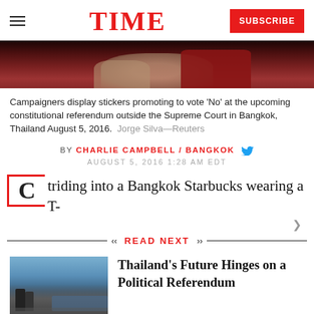TIME | SUBSCRIBE
[Figure (photo): Close-up photo of people in dark clothing, partially visible torsos and hands, dark red background]
Campaigners display stickers promoting to vote 'No' at the upcoming constitutional referendum outside the Supreme Court in Bangkok, Thailand August 5, 2016.  Jorge Silva—Reuters
BY CHARLIE CAMPBELL / BANGKOK
AUGUST 5, 2016 1:28 AM EDT
C triding into a Bangkok Starbucks wearing a T-
READ NEXT
[Figure (photo): Thumbnail photo of protesters in Thailand holding banners, police or military in foreground]
Thailand's Future Hinges on a Political Referendum